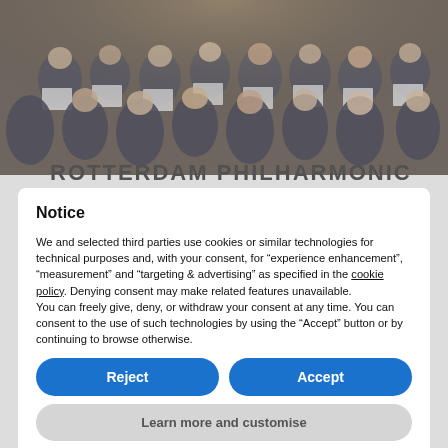[Figure (photo): Orchestra musicians seen from behind, playing instruments on stage with music stands and sheet music visible.]
ROTTERDAM PHILHARMONIC
Notice

We and selected third parties use cookies or similar technologies for technical purposes and, with your consent, for “experience enhancement”, “measurement” and “targeting & advertising” as specified in the cookie policy. Denying consent may make related features unavailable.
You can freely give, deny, or withdraw your consent at any time. You can consent to the use of such technologies by using the “Accept” button or by continuing to browse otherwise.
Reject
Accept
Learn more and customise